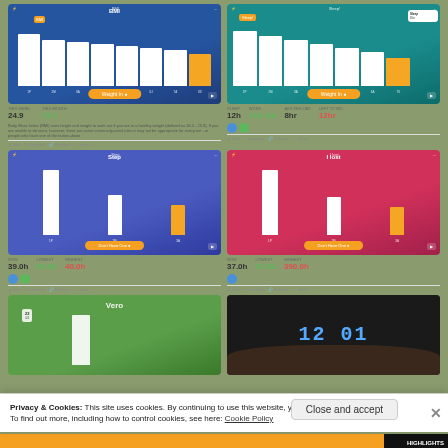[Figure (screenshot): BMI app screenshot on blue background with bar chart showing weekly BMI values]
THISWEEK: 24.9   THISMONTH: 23.1
Body Mass Index (BMI) uses height and weight to work out if you are in a healthy weight (defined as 18.5 - 25.0). If you are unable to do more, however, there are some commonly-used rules it may not be appropriate for everyone - or people who have one of the button-down
[Figure (screenshot): Sleep app screenshot on teal background with bar chart showing sleep data]
SLEEP: 12h   WORK: 11h 2m   AVG PER DAY: 8hr   LEFT TO MO: 12hr
[Figure (screenshot): Steps app screenshot on blue/purple background with bar chart]
NOW: 39.0h   LOWEST: 39.0h   HIGHEST: 40.0h
[Figure (screenshot): Steps app screenshot on pink/red background with bar chart]
NOW: 37.0h   LOWEST: 37.0h   HIGHEST: 390.0h
[Figure (screenshot): Vero app screenshot on green background with single bar]
[Figure (photo): Photo of a digital weighing scale display showing 12.0, with a foot visible at the bottom]
Privacy & Cookies: This site uses cookies. By continuing to use this website, you agree to their use. To find out more, including how to control cookies, see here: Cookie Policy
Close and accept